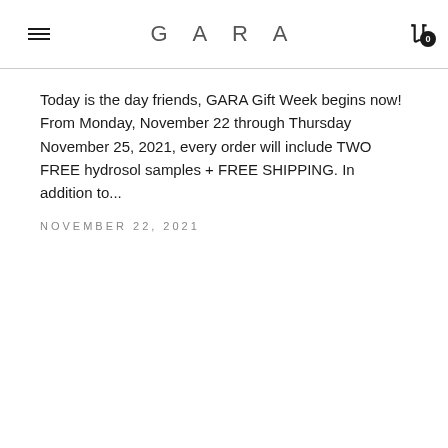GARA
Today is the day friends, GARA Gift Week begins now! From Monday, November 22 through Thursday November 25, 2021, every order will include TWO FREE hydrosol samples + FREE SHIPPING. In addition to...
NOVEMBER 22, 2021